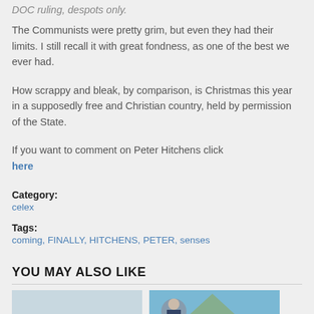DOC ruling, despots only.
The Communists were pretty grim, but even they had their limits. I still recall it with great fondness, as one of the best we ever had.
How scrappy and bleak, by comparison, is Christmas this year in a supposedly free and Christian country, held by permission of the State.
If you want to comment on Peter Hitchens click here
Category:
celex
Tags:
coming, FINALLY, HITCHENS, PETER, senses
YOU MAY ALSO LIKE
[Figure (photo): Thumbnail image of an airplane on the left]
[Figure (photo): Thumbnail image of a man in suit with mountain landscape on the right]